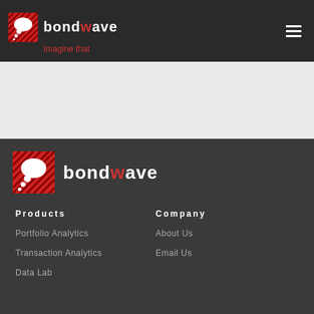bondwave - Imagine that
[Figure (logo): Bondwave logo with red checkered speech bubble icon and white text 'bondwave', tagline 'Imagine that' in red]
[Figure (logo): Bondwave footer logo with red checkered speech bubble icon and white text 'bondwave']
Products
Portfolio Analytics
Transaction Analytics
Data Lab
Company
About Us
Email Us